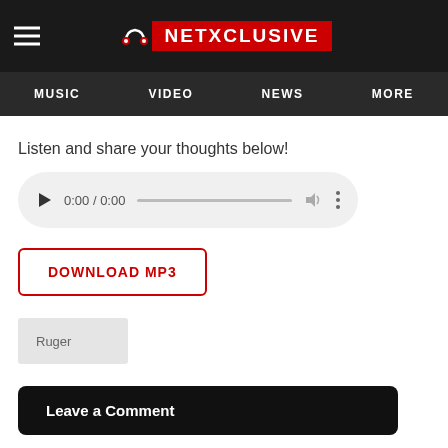[Figure (logo): NETXCLUSIVE website header with hamburger menu icon on left and logo (headphone icon + red box with NETXCLUSIVE text) centered on dark background]
MUSIC  VIDEO  NEWS  MORE
Listen and share your thoughts below!
[Figure (screenshot): HTML5 audio player with play button, time 0:00 / 0:00, progress bar, volume icon, and more options icon on light gray pill-shaped background]
DOWNLOAD MP3
Ruger
Leave a Comment
Do you find Netxclusive useful? Click here to give us five